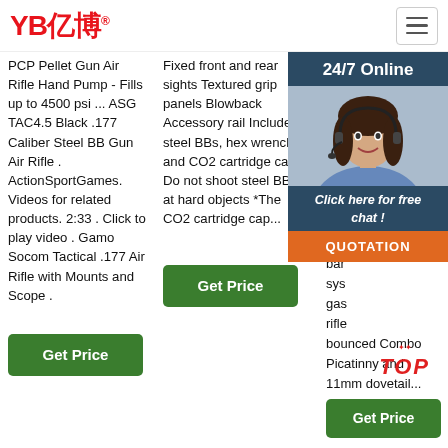YB亿博® [logo with hamburger menu]
PCP Pellet Gun Air Rifle Hand Pump - Fills up to 4500 psi ... ASG TAC4.5 Black .177 Caliber Steel BB Gun Air Rifle . ActionSportGames. Videos for related products. 2:33 . Click to play video . Gamo Socom Tactical .177 Air Rifle with Mounts and Scope .
Fixed front and rear sights Textured grip panels Blowback Accessory rail Includes steel BBs, hex wrench and CO2 cartridge cap* Do not shoot steel BBs at hard objects *The CO2 cartridge cap...
action Skeletonized synthetic stock Qui... shr... Incl ma... sinc Incl noz rifle bar... sys... gas rifle bounced Combo Picatinny and 11mm dovetail...
[Figure (screenshot): Customer service chat widget overlay showing '24/7 Online' header, photo of woman with headset, 'Click here for free chat!' text, and 'QUOTATION' button]
TOP
Get Price
Get Price
Get Price